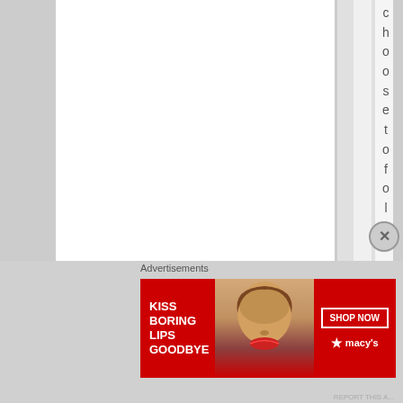[Figure (screenshot): A webpage layout showing multiple vertical white column strips on a light gray background, with vertically oriented text reading 'choose to follow me.' displayed character by character down the page in the rightmost visible white column]
Advertisements
[Figure (photo): Advertisement banner with red background showing 'KISS BORING LIPS GOODBYE' text on left, a woman's face with red lips in the center, and 'SHOP NOW' button with Macy's star logo on the right]